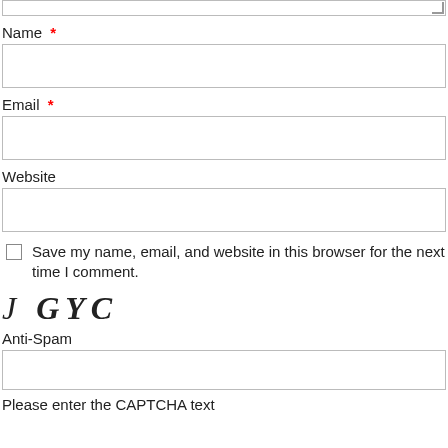Name *
Email *
Website
Save my name, email, and website in this browser for the next time I comment.
[Figure (other): CAPTCHA image showing italic characters: J GYC]
Anti-Spam
Please enter the CAPTCHA text